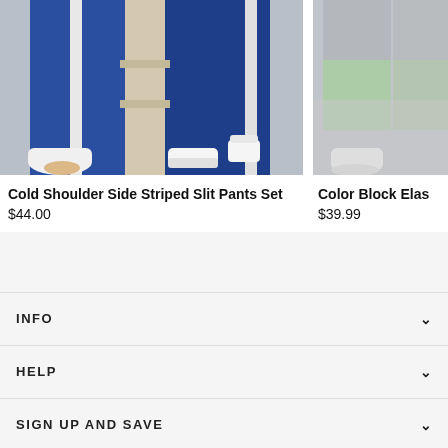[Figure (photo): Photo of a model wearing blue Cold Shoulder Side Striped Slit Pants Set, showing legs wearing white sneakers and heeled slides]
[Figure (photo): Partial photo of a model wearing Color Block Elastic pants in light grey/green, with white sneakers, image cropped on right]
Cold Shoulder Side Striped Slit Pants Set
$44.00
Color Block Elas
$39.99
INFO
HELP
SIGN UP AND SAVE